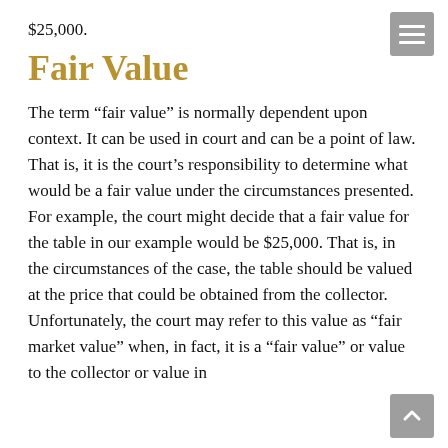$25,000.
Fair Value
The term “fair value” is normally dependent upon context. It can be used in court and can be a point of law. That is, it is the court’s responsibility to determine what would be a fair value under the circumstances presented. For example, the court might decide that a fair value for the table in our example would be $25,000. That is, in the circumstances of the case, the table should be valued at the price that could be obtained from the collector. Unfortunately, the court may refer to this value as “fair market value” when, in fact, it is a “fair value” or value to the collector or value in